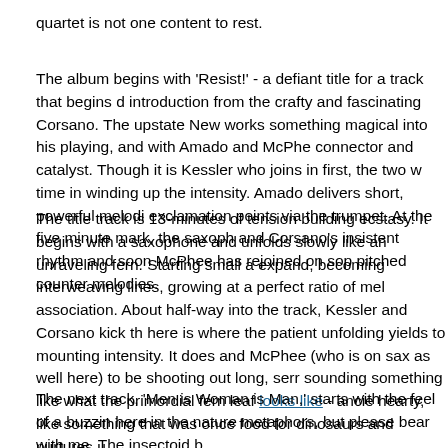quartet is not one content to rest.
The album begins with 'Resist!' - a defiant title for a track that begins d... introduction from the crafty and fascinating Corsano. The upstate New... works something magical into his playing, and with Amado and McPhe... connector and catalyst. Though it is Kessler who joins in first, the two w... time in winding up the intensity. Amado delivers short, powerful melodi... exclamation points via the trumpet. At the five minute mark, the saxoph... and Corsano's insistent rhythm and soon McPhee has rejoined on sop... pitched counter melodies.
The title track is 13-minutes of tension building ecstasy. It begins with a... saxophone and unfolds slowly like an unraveling fern. Starting small a... expand, becoming interweaving lines, growing at a perfect ratio of mel... association. About half-way into the track, Kessler and Corsano kick th... here is where the patient unfolding yields to mounting intensity. It does... and McPhee (who is on sax as well here) to be shooting out long, serr... sounding something like what the primordial fern leaf looks like - ancie... hearty, like something that was once food for dinosaurs and nurtures u...
The next track, 'Men is Woman is Man,' starts with the feel of a buzzin... here in the nature metaphors, but please bear with me. The insectoid b...